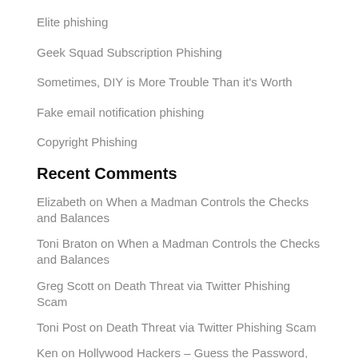Elite phishing
Geek Squad Subscription Phishing
Sometimes, DIY is More Trouble Than it's Worth
Fake email notification phishing
Copyright Phishing
Recent Comments
Elizabeth on When a Madman Controls the Checks and Balances
Toni Braton on When a Madman Controls the Checks and Balances
Greg Scott on Death Threat via Twitter Phishing Scam
Toni Post on Death Threat via Twitter Phishing Scam
Ken on Hollywood Hackers – Guess the Password, Save the World